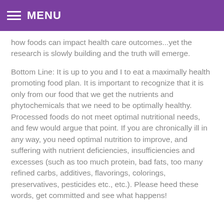MENU
how foods can impact health care outcomes...yet the research is slowly building and the truth will emerge.
Bottom Line: It is up to you and I to eat a maximally health promoting food plan. It is important to recognize that it is only from our food that we get the nutrients and phytochemicals that we need to be optimally healthy. Processed foods do not meet optimal nutritional needs, and few would argue that point. If you are chronically ill in any way, you need optimal nutrition to improve, and suffering with nutrient deficiencies, insufficiencies and excesses (such as too much protein, bad fats, too many refined carbs, additives, flavorings, colorings, preservatives, pesticides etc., etc.). Please heed these words, get committed and see what happens!